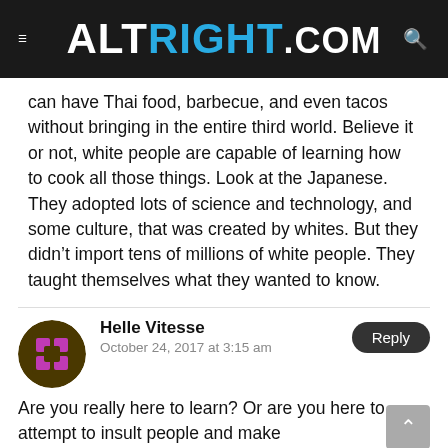ALTRIGHT.COM
can have Thai food, barbecue, and even tacos without bringing in the entire third world. Believe it or not, white people are capable of learning how to cook all those things. Look at the Japanese. They adopted lots of science and technology, and some culture, that was created by whites. But they didn’t import tens of millions of white people. They taught themselves what they wanted to know.
Helle Vitesse
October 24, 2017 at 3:15 am
Are you really here to learn? Or are you here to attempt to insult people and make